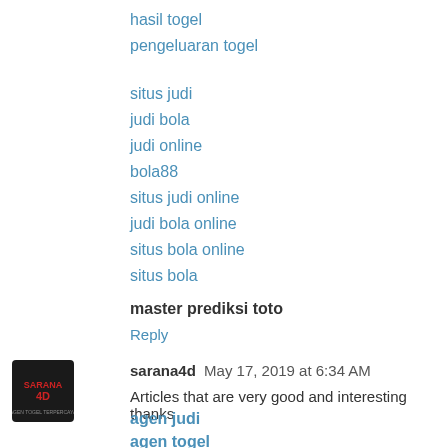hasil togel
pengeluaran togel
situs judi
judi bola
judi online
bola88
situs judi online
judi bola online
situs bola online
situs bola
master prediksi toto
Reply
sarana4d  May 17, 2019 at 6:34 AM
Articles that are very good and interesting thanks
agen judi
agen togel